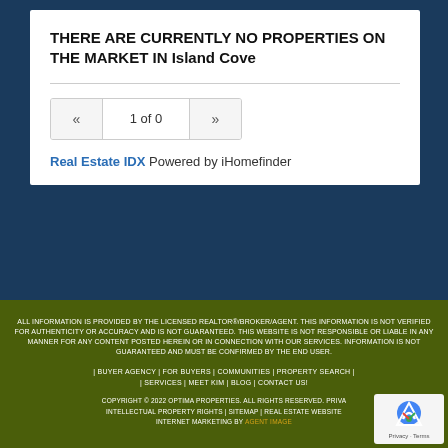THERE ARE CURRENTLY NO PROPERTIES ON THE MARKET IN Island Cove
Real Estate IDX Powered by iHomefinder
ALL INFORMATION IS PROVIDED BY THE LICENSED REALTOR®/BROKER/AGENT. THIS INFORMATION IS NOT VERIFIED FOR AUTHENTICITY OR ACCURACY AND IS NOT GUARANTEED. THIS WEBSITE IS NOT RESPONSIBLE OR LIABLE IN ANY MANNER FOR ANY CONTENT POSTED HEREIN OR IN CONNECTION WITH OUR SERVICES. INFORMATION IS NOT GUARANTEED AND MUST BE CONFIRMED BY THE END USER.
| BUYER AGENCY | FOR BUYERS | COMMUNITIES | PROPERTY SEARCH | SERVICES | MEET KIM | BLOG | CONTACT US! COPYRIGHT © 2022 OPTIMA PROPERTIES. ALL RIGHTS RESERVED. PRIVACY | INTELLECTUAL PROPERTY RIGHTS | SITEMAP | REAL ESTATE WEBSITE | INTERNET MARKETING BY AGENT IMAGE